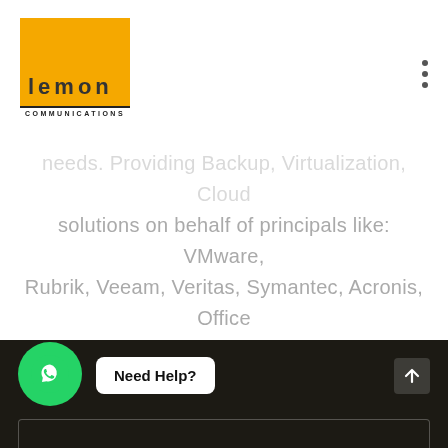[Figure (logo): Lemon Communications logo: yellow/orange square with 'lemon' in bold dark letters and 'COMMUNICATIONS' underneath]
needs. Providing Backup, Virtualization, Cloud solutions on behalf of principals like: VMware, Rubrik, Veeam, Veritas, Symantec, Acronis, Office 365, G suite, and Amazon Web Services. And have expert IT professionals who have the principal support to provide you high end support services and consultancy.
[Figure (screenshot): Dark footer section with WhatsApp icon button, 'Need Help?' button, and an up-arrow scroll-to-top button]